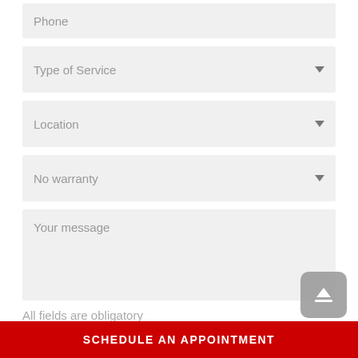Phone
Type of Service
Location
No warranty
Your message
All fields are obligatory
SCHEDULE AN APPOINTMENT